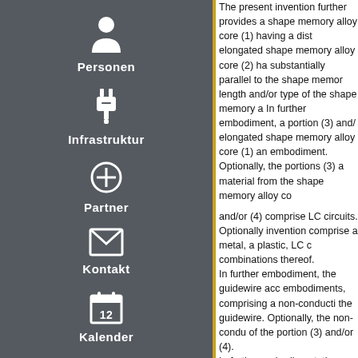[Figure (screenshot): Navigation sidebar with dark gray background and gold border, containing five menu items with icons: Personen (person silhouette), Infrastruktur (plug icon), Partner (circle with plus), Kontakt (envelope icon), Kalender (calendar icon with number 12)]
The present invention further provides a shape memory alloy core (1) having a dist elongated shape memory alloy core (2) ha substantially parallel to the shape memor length and/or type of the shape memory a In further embodiment, a portion (3) and/ elongated shape memory alloy core (1) an embodiment. Optionally, the portions (3) a material from the shape memory alloy co and/or (4) comprise LC circuits. Optionally invention comprise a metal, a plastic, LC c combinations thereof. In further embodiment, the guidewire acc embodiments, comprising a non-conducti the guidewire. Optionally, the non-condu of the portion (3) and/or (4). In further embodiment, the guidewire acc embodiment, wherein the LC circuit being and/or magnetic fields generated from th energy in form of heat to the elongated sh In further embodiment, the guidewire acc embodiments, wherein the guidewire bei scan, magnetic resonance imaging, or con